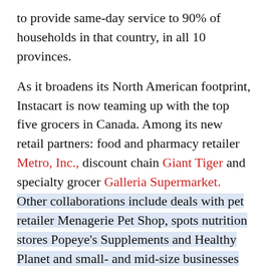to provide same-day service to 90% of households in that country, in all 10 provinces.
As it broadens its North American footprint, Instacart is now teaming up with the top five grocers in Canada. Among its new retail partners: food and pharmacy retailer Metro, Inc., discount chain Giant Tiger and specialty grocer Galleria Supermarket. Other collaborations include deals with pet retailer Menagerie Pet Shop, spots nutrition stores Popeye's Supplements and Healthy Planet and small- and mid-size businesses Dolce & Gourmondo, Nature's Emporium, Super Natural Market and Grande Cheese Markets.
The partnership with Metro will particularly advance Instacart's operations in the Canadian grocery sector, where the company already works with major food